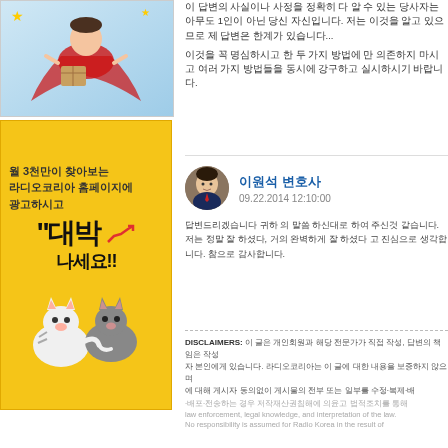[Figure (illustration): Superhero character flying, cartoon illustration with blue cape]
[Figure (infographic): Yellow advertisement banner: 월 3천만이 찾아보는 라디오코리아 홈페이지에 광고하시고 대박 나세요!! with cartoon tiger animals]
이 답변의 사실이나 사정을 정확히 다 알 수 있는 당사자는 아무도 1인이 아닌 당신 자신입니다. 저는 이것을 알고 있으므로 제 답변은 한계가 있습니다...
이것을 꼭 명심하시고 한 두 가지 방법에 만 의존하지 마시고 여러 가지 방법들을 동시에 강구하고 실시하시기 바랍니다.
이원석 변호사
09.22.2014 12:10:00
답변드리겠습니다 귀하 의 말씀 하신대로 하여 주신것 같습니다.
저는 정말 잘 하셨다, 거의 완벽하게 잘 하셨다 고 진심으로 생각합니다. 참으로 감사합니다.
DISCLAIMERS: 이 글은 개인회원과 해당 전문가가 직접 작성, 답변의 책임은 작성자 본인에게 있습니다. 라디오코리아는 이 글에 대한 내용을 보증하지 않으며 에 대해 게시자 동의없이 게시물의 전부 또는 일부를 수정·복제·배포·전송하는 경우 저작재산권침해에 의윤고 법적조치를 통해
law enforcement, legal knowledge, and interpretation of the law.
No responsibility is assumed for Radio Korea in the result of